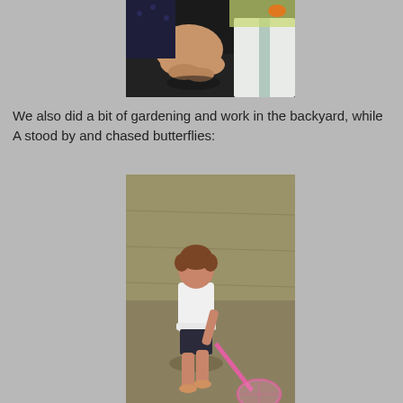[Figure (photo): Close-up photo of a person's bare feet and lower legs sitting on a dark surface, with a white/green towel visible nearby and another person partially visible holding something orange.]
We also did a bit of gardening and work in the backyard, while A stood by and chased butterflies:
[Figure (photo): Photo of a small toddler girl in a white sleeveless top and dark shorts, standing on a dry grass lawn, holding a pink butterfly net trailing behind her.]